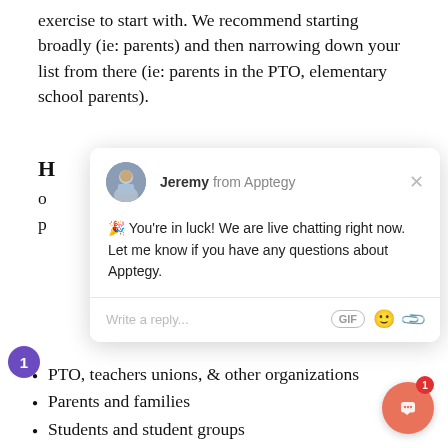exercise to start with. We recommend starting broadly (ie: parents) and then narrowing down your list from there (ie: parents in the PTO, elementary school parents).
[Figure (screenshot): A live chat popup widget from Apptegy showing Jeremy from Apptegy with a message: '🎉 You're in luck! We are live chatting right now. Let me know if you have any questions about Apptegy.' with a reply input field and icons for GIF, emoji, and attachment.]
PTO, teachers unions, & other organizations
Parents and families
Students and student groups